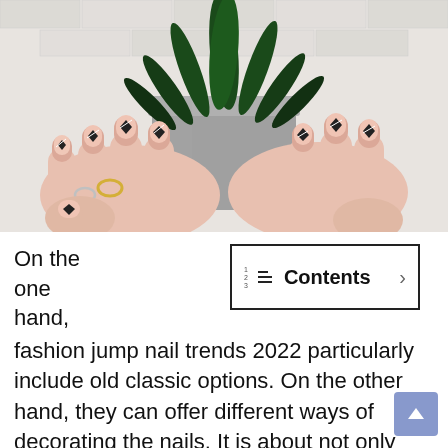[Figure (photo): Close-up photo of two hands with manicured nails in pink/nude tones with black geometric heart/triangle decorations and white line accents, holding a grey concrete pot with a succulent plant against a white brick wall background.]
On the one hand,
Contents
fashion jump nail trends 2022 particularly include old classic options. On the other hand, they can offer different ways of decorating the nails. It is about not only their coat, but besides